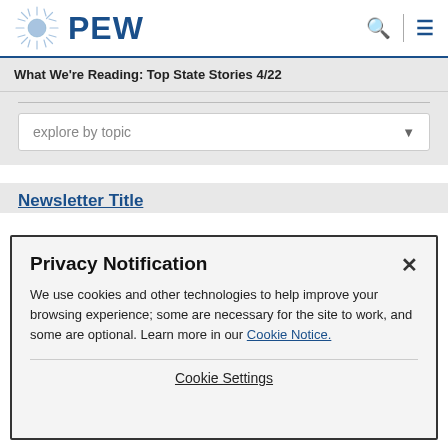[Figure (logo): PEW Research logo with sunburst graphic and blue PEW text, plus search and menu icons on the right]
What We're Reading: Top State Stories 4/22
[Figure (screenshot): Dropdown selector labeled 'explore by topic' with down arrow]
Privacy Notification
We use cookies and other technologies to help improve your browsing experience; some are necessary for the site to work, and some are optional. Learn more in our Cookie Notice.
Cookie Settings